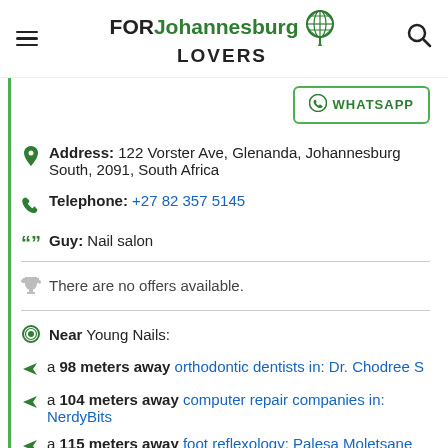FOR Johannesburg LOVERS
WHATSAPP
Address: 122 Vorster Ave, Glenanda, Johannesburg South, 2091, South Africa
Telephone: +27 82 357 5145
Guy: Nail salon
There are no offers available.
Near Young Nails:
a 98 meters away orthodontic dentists in: Dr. Chodree S
a 104 meters away computer repair companies in: NerdyBits
a 115 meters away foot reflexology: Palesa Moletsane Registered Therapeutic Reflexologist